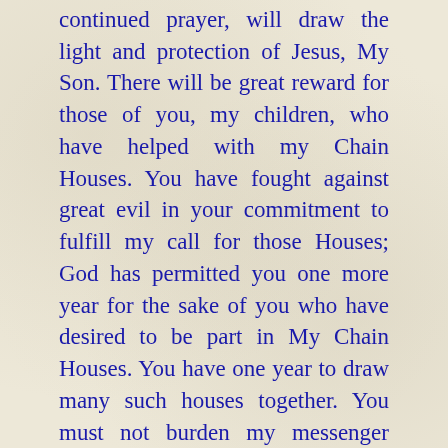continued prayer, will draw the light and protection of Jesus, My Son. There will be great reward for those of you, my children, who have helped with my Chain Houses. You have fought against great evil in your commitment to fulfill my call for those Houses; God has permitted you one more year for the sake of you who have desired to be part in My Chain Houses. You have one year to draw many such houses together. You must not burden my messenger with any of this. She has suffered the downfall of the many who were in my name participating in My Chain Houses. You who have been responsible for her suffering will know in your heart the damage you